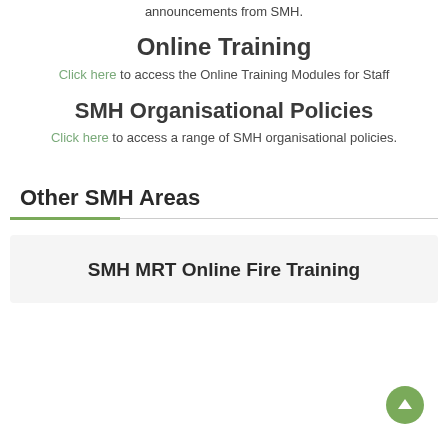announcements from SMH.
Online Training
Click here to access the Online Training Modules for Staff
SMH Organisational Policies
Click here to access a range of SMH organisational policies.
Other SMH Areas
SMH MRT Online Fire Training